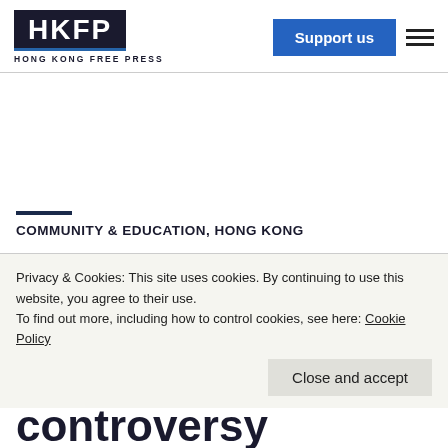HKFP — HONG KONG FREE PRESS
COMMUNITY & EDUCATION, HONG KONG
controversy
Privacy & Cookies: This site uses cookies. By continuing to use this website, you agree to their use. To find out more, including how to control cookies, see here: Cookie Policy
Close and accept